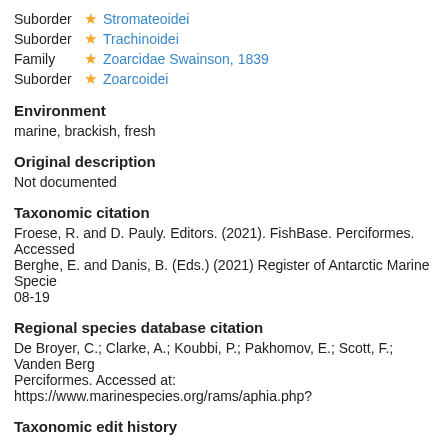Suborder Stromateoidei
Suborder Trachinoidei
Family Zoarcidae Swainson, 1839
Suborder Zoarcoidei
Environment
marine, brackish, fresh
Original description
Not documented
Taxonomic citation
Froese, R. and D. Pauly. Editors. (2021). FishBase. Perciformes. Accessed Berghe, E. and Danis, B. (Eds.) (2021) Register of Antarctic Marine Specie 08-19
Regional species database citation
De Broyer, C.; Clarke, A.; Koubbi, P.; Pakhomov, E.; Scott, F.; Vanden Berg Perciformes. Accessed at: https://www.marinespecies.org/rams/aphia.php?
Taxonomic edit history
| Date | action |
| --- | --- |
| 2004-12-21 15:54:05Z | create |
| 2015-04-17 07:06:04Z | check |